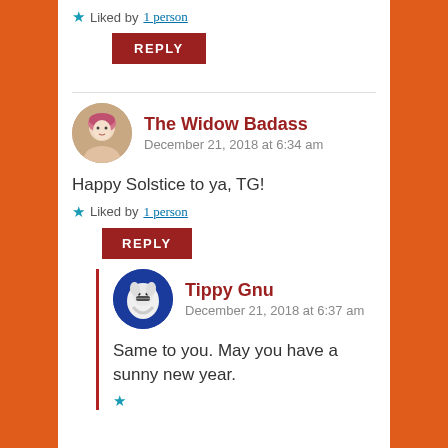★ Liked by 1 person
REPLY
The Widow Badass
December 21, 2018 at 6:34 am
Happy Solstice to ya, TG!
★ Liked by 1 person
REPLY
Tippy Gnu
December 21, 2018 at 6:37 am
Same to you. May you have a sunny new year.